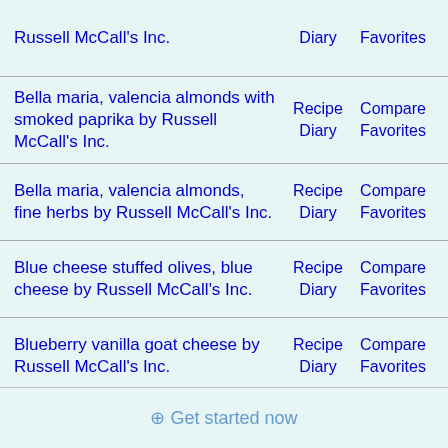Russell McCall's Inc. | Diary | Favorites
Bella maria, valencia almonds with smoked paprika by Russell McCall's Inc. | Recipe | Compare | Diary | Favorites
Bella maria, valencia almonds, fine herbs by Russell McCall's Inc. | Recipe | Compare | Diary | Favorites
Blue cheese stuffed olives, blue cheese by Russell McCall's Inc. | Recipe | Compare | Diary | Favorites
Blueberry vanilla goat cheese by Russell McCall's Inc. | Recipe | Compare | Diary | Favorites
⊕ Get started now